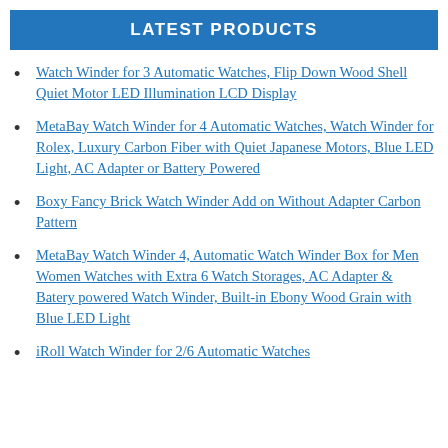LATEST PRODUCTS
Watch Winder for 3 Automatic Watches, Flip Down Wood Shell Quiet Motor LED Illumination LCD Display
MetaBay Watch Winder for 4 Automatic Watches, Watch Winder for Rolex, Luxury Carbon Fiber with Quiet Japanese Motors, Blue LED Light, AC Adapter or Battery Powered
Boxy Fancy Brick Watch Winder Add on Without Adapter Carbon Pattern
MetaBay Watch Winder 4, Automatic Watch Winder Box for Men Women Watches with Extra 6 Watch Storages, AC Adapter & Batery powered Watch Winder, Built-in Ebony Wood Grain with Blue LED Light
iRoll Watch Winder for 2/6 Automatic Watches